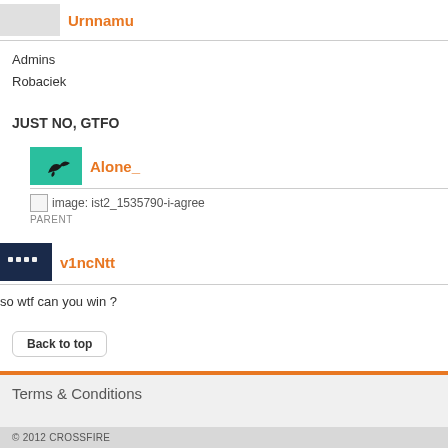Urnnamu
Admins
Robaciek
JUST NO, GTFO
Alone_
[Figure (illustration): Image placeholder for ist2_1535790-i-agree]
PARENT
v1ncNtt
so wtf can you win ?
Back to top
Terms & Conditions
© 2012 CROSSFIRE